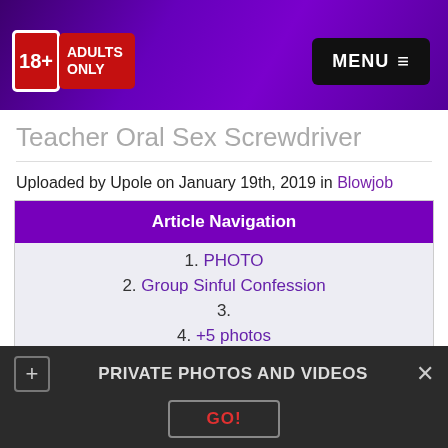18+ ADULTS ONLY | MENU
Teacher Oral Sex Screwdriver
Uploaded by Upole on January 19th, 2019 in Blowjob
Article Navigation
1. PHOTO
2. Group Sinful Confession
3.
4. +5 photos
5. Comments (4)
PRIVATE PHOTOS AND VIDEOS
GO!